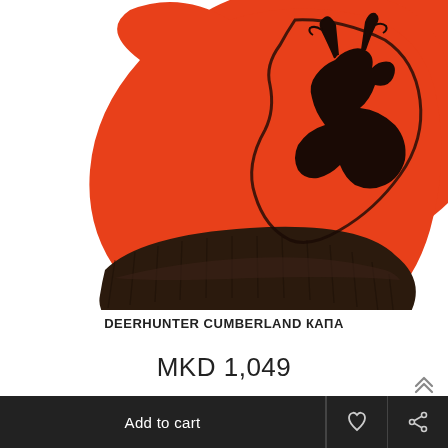[Figure (photo): An orange and dark brown knit beanie hat (Deerhunter Cumberland) shown from a side angle. The hat features a large black Deerhunter deer logo on the orange body and a dark brown/black ribbed cuff band at the bottom.]
DEERHUNTER CUMBERLAND КАПА
MKD 1,049
Add to cart